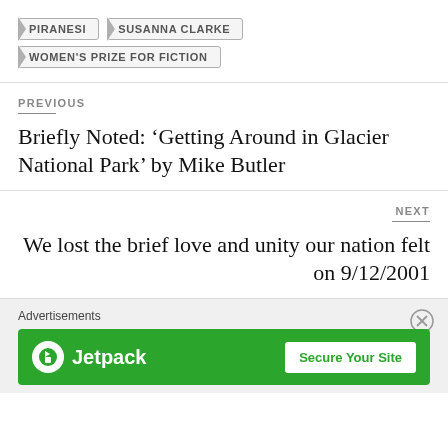PIRANESI
SUSANNA CLARKE
WOMEN'S PRIZE FOR FICTION
PREVIOUS
Briefly Noted: ‘Getting Around in Glacier National Park’ by Mike Butler
NEXT
We lost the brief love and unity our nation felt on 9/12/2001
Advertisements
[Figure (screenshot): Jetpack advertisement banner with green background, Jetpack logo on left and 'Secure Your Site' button on right]